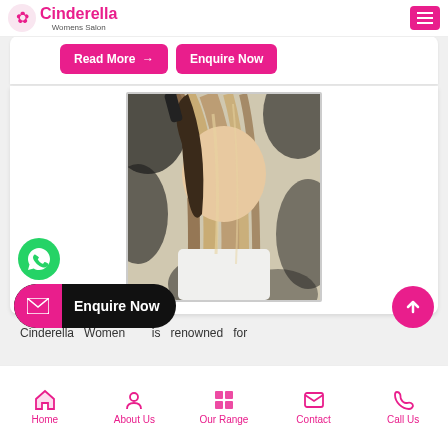Cinderella Womens Salon
Read More → | Enquire Now
[Figure (photo): Woman with straight highlighted blonde/brown hair being styled, seen from behind, with a black and white swirl patterned background]
Enquire Now
Cinderella Women is renowned for
Home | About Us | Our Range | Contact | Call Us